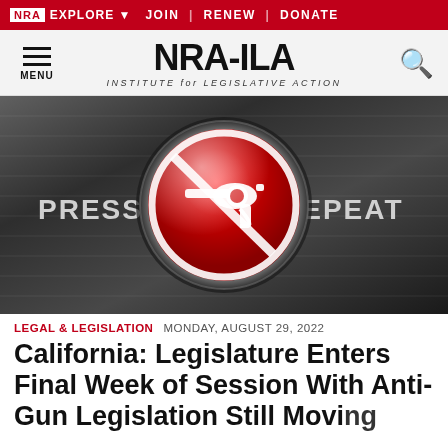NRA EXPLORE ▾  JOIN | RENEW | DONATE
NRA-ILA INSTITUTE for LEGISLATIVE ACTION
[Figure (illustration): Dark brushed-metal background with a red circular button (no-gun symbol — a revolver with a red circle-slash) in the center. To the left of the button the word PRESS and to the right the word REPEAT in large bold gray text.]
LEGAL & LEGISLATION   MONDAY, AUGUST 29, 2022
California: Legislature Enters Final Week of Session With Anti-Gun Legislation Still Moving